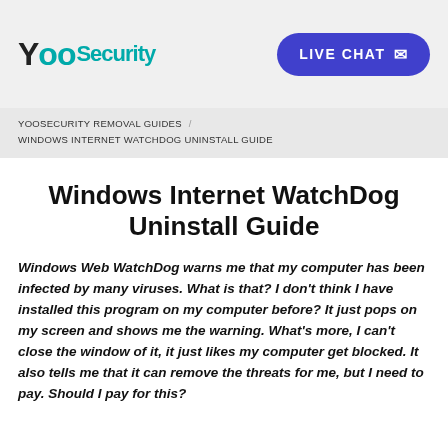YooSecurity — LIVE CHAT
YOOSECURITY REMOVAL GUIDES / WINDOWS INTERNET WATCHDOG UNINSTALL GUIDE
Windows Internet WatchDog Uninstall Guide
Windows Web WatchDog warns me that my computer has been infected by many viruses. What is that? I don't think I have installed this program on my computer before? It just pops on my screen and shows me the warning. What's more, I can't close the window of it, it just likes my computer get blocked. It also tells me that it can remove the threats for me, but I need to pay. Should I pay for this?